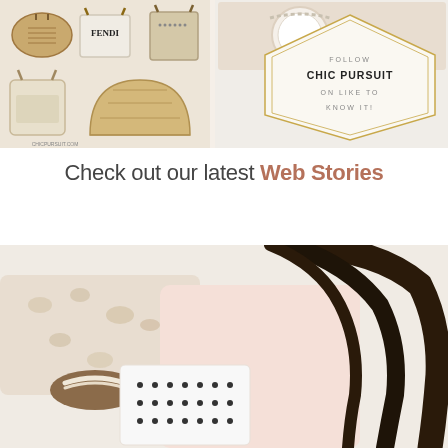[Figure (photo): Collage image showing multiple straw/woven tote bags (including Fendi brand) on left half, and on right half a lifestyle flat-lay with accessories plus a decorative text graphic reading 'Follow Chic Pursuit on Like to Know It!' inside a geometric gold diamond frame]
Check out our latest Web Stories
[Figure (photo): Photo of a woman with long dark wavy hair wearing a blush/pale pink sleeveless top, holding a white box with black dot pattern, with a leopard-print pillow in the background]